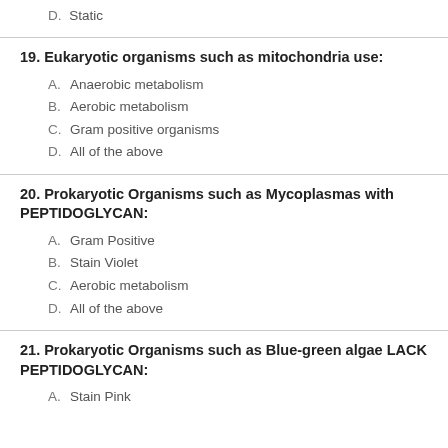D. Static
19. Eukaryotic organisms such as mitochondria use:
A. Anaerobic metabolism
B. Aerobic metabolism
C. Gram positive organisms
D. All of the above
20. Prokaryotic Organisms such as Mycoplasmas with PEPTIDOGLYCAN:
A. Gram Positive
B. Stain Violet
C. Aerobic metabolism
D. All of the above
21. Prokaryotic Organisms such as Blue-green algae LACK PEPTIDOGLYCAN:
A. Stain Pink